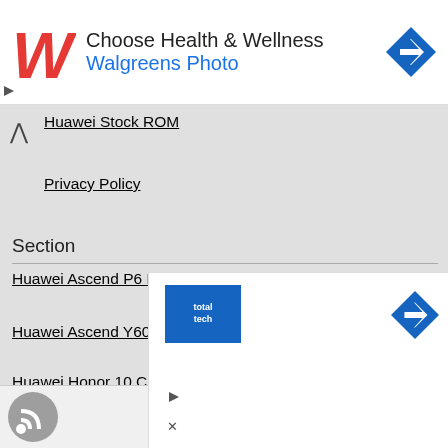[Figure (screenshot): Walgreens advertisement banner with red stylized W logo, text 'Choose Health & Wellness' and 'Walgreens Photo' in blue, and a blue diamond-shaped arrow icon on the right.]
Huawei Stock ROM
Privacy Policy
Section
Huawei Ascend P6 P6-U00
Huawei Ascend Y600 Y600-U20
Huawei Honor 10 COL-AL00A
Conn...
[Figure (screenshot): Bottom advertisement with Totaltech blue square logo and blue diamond arrow icon, with ad attribution icons (play and close).]